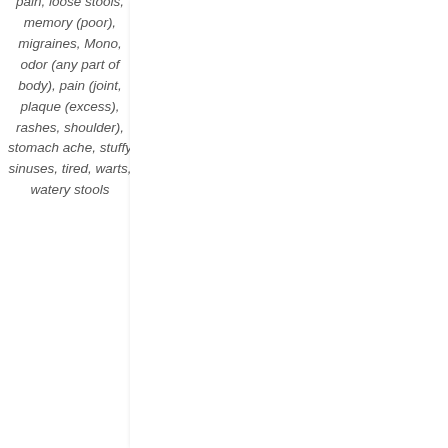pain, loose stools, memory (poor), migraines, Mono, odor (any part of body), pain (joint, plaque (excess), rashes, shoulder), stomach ache, stuffy sinuses, tired, warts, watery stools